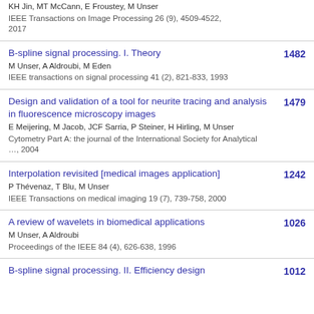KH Jin, MT McCann, E Froustey, M Unser
IEEE Transactions on Image Processing 26 (9), 4509-4522, 2017
B-spline signal processing. I. Theory
M Unser, A Aldroubi, M Eden
IEEE transactions on signal processing 41 (2), 821-833, 1993
1482
Design and validation of a tool for neurite tracing and analysis in fluorescence microscopy images
E Meijering, M Jacob, JCF Sarria, P Steiner, H Hirling, M Unser
Cytometry Part A: the journal of the International Society for Analytical …, 2004
1479
Interpolation revisited [medical images application]
P Thévenaz, T Blu, M Unser
IEEE Transactions on medical imaging 19 (7), 739-758, 2000
1242
A review of wavelets in biomedical applications
M Unser, A Aldroubi
Proceedings of the IEEE 84 (4), 626-638, 1996
1026
B-spline signal processing. II. Efficiency design
1012